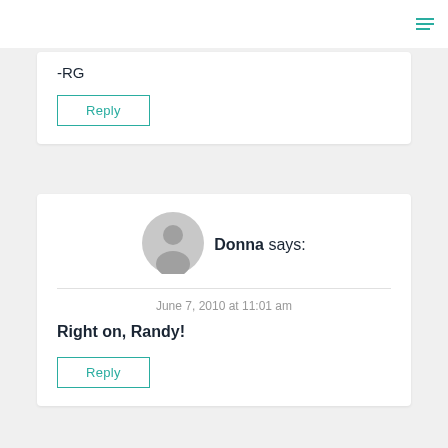≡ (hamburger menu icon)
-RG
Reply
Donna says:
June 7, 2010 at 11:01 am
Right on, Randy!
Reply